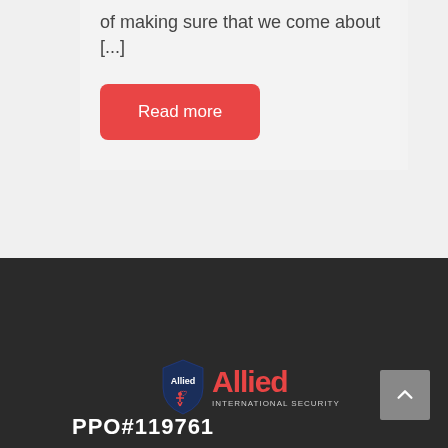of making sure that we come about [...]
Read more
[Figure (logo): Allied International Security logo — shield with 'Allied' text and 'INTERNATIONAL SECURITY' subtitle]
PPO#119761